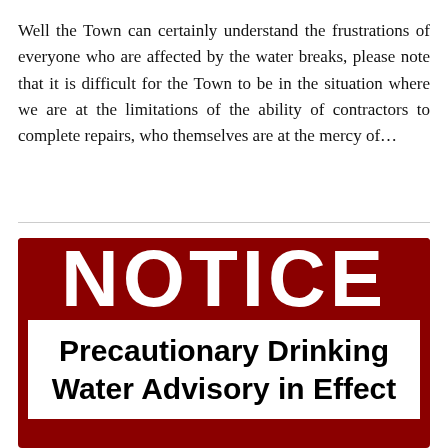Well the Town can certainly understand the frustrations of everyone who are affected by the water breaks, please note that it is difficult for the Town to be in the situation where we are at the limitations of the ability of contractors to complete repairs, who themselves are at the mercy of...
[Figure (other): A notice sign with dark red background showing 'NOTICE' in large white letters at the top, and below on white background 'Precautionary Drinking Water Advisory in Effect' in large bold black text.]